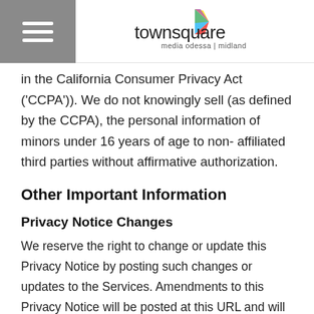townsquare media odessa midland
in the California Consumer Privacy Act ('CCPA')). We do not knowingly sell (as defined by the CCPA), the personal information of minors under 16 years of age to non- affiliated third parties without affirmative authorization.
Other Important Information
Privacy Notice Changes
We reserve the right to change or update this Privacy Notice by posting such changes or updates to the Services. Amendments to this Privacy Notice will be posted at this URL and will be effective when posted. You can tell if the Notice has changed by checking the last modified date that appears at the end of this Privacy Notice. Your continued use of the Services following the posting of any amendment,